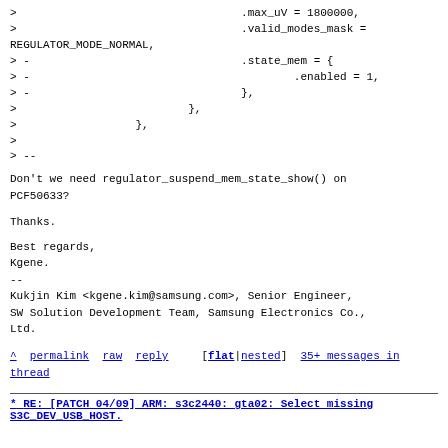> .max_uV = 1800000,
> .valid_modes_mask =
REGULATOR_MODE_NORMAL,
> - .state_mem = {
> - .enabled = 1,
> - },
> },
> },
>
> --
Don't we need regulator_suspend_mem_state_show() on
PCF50633?
Thanks.
Best regards,
Kgene.
--
Kukjin Kim <kgene.kim@samsung.com>, Senior Engineer,
SW Solution Development Team, Samsung Electronics Co.,
Ltd.
^ permalink raw reply [flat|nested] 35+ messages in
thread
* RE: [PATCH 04/09] ARM: s3c2440: gta02: Select missing
S3C_DEV_USB_HOST.